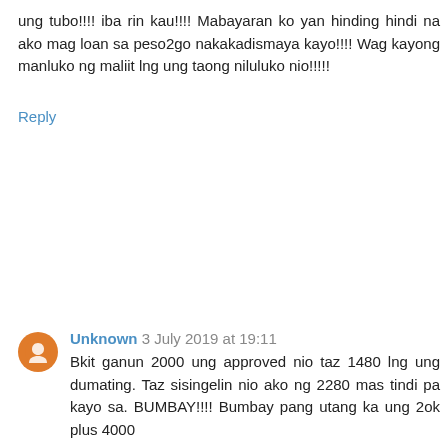ung tubo!!!! iba rin kau!!!! Mabayaran ko yan hinding hindi na ako mag loan sa peso2go nakakadismaya kayo!!!! Wag kayong manluko ng maliit lng ung taong niluluko nio!!!!!
Reply
Unknown 3 July 2019 at 19:11
Bkit ganun 2000 ung approved nio taz 1480 lng ung dumating. Taz sisingelin nio ako ng 2280 mas tindi pa kayo sa. BUMBAY!!!! Bumbay pang utang ka ung 2ok plus 4000